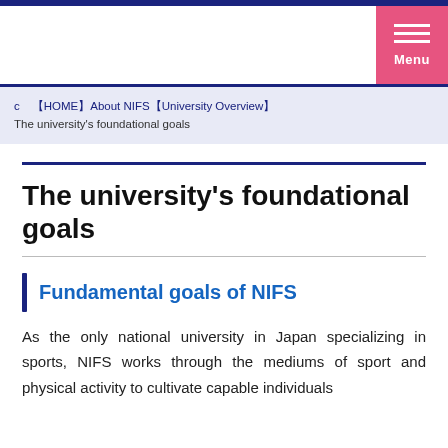Menu
c  【HOME】About NIFS【University Overview】
The university's foundational goals
The university's foundational goals
Fundamental goals of NIFS
As the only national university in Japan specializing in sports, NIFS works through the mediums of sport and physical activity to cultivate capable individuals